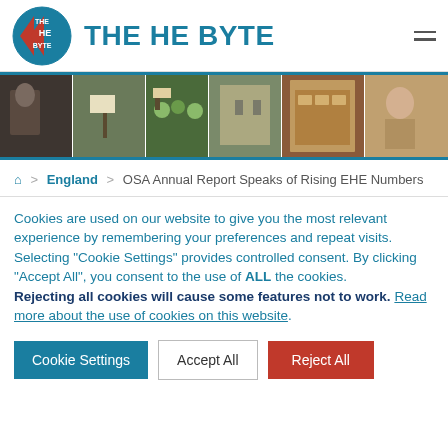THE HE BYTE
[Figure (photo): Horizontal photo strip with 6 news images separated by thin white lines, framed by teal borders top and bottom]
Home > England > OSA Annual Report Speaks of Rising EHE Numbers
Cookies are used on our website to give you the most relevant experience by remembering your preferences and repeat visits.
Selecting "Cookie Settings" provides controlled consent. By clicking "Accept All", you consent to the use of ALL the cookies.
Rejecting all cookies will cause some features not to work. Read more about the use of cookies on this website.